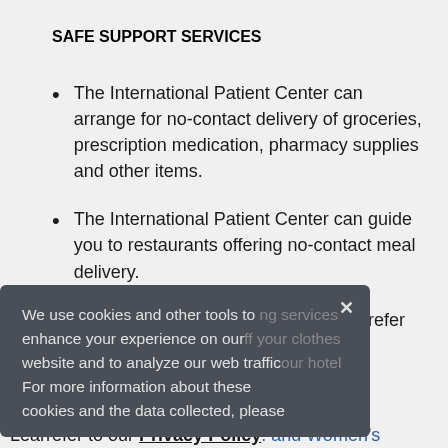SAFE SUPPORT SERVICES
The International Patient Center can arrange for no-contact delivery of groceries, prescription medication, pharmacy supplies and other items.
The International Patient Center can guide you to restaurants offering no-contact meal delivery.
The International Patient Center can refer [partially visible — ng services, off your clothes, our hotel, properties]
We use cookies and other tools to enhance your experience on our website and to analyze our web traffic. For more information about these cookies and the data collected, please refer to our Privacy Policy.
Learn refer to our Privacy Policy. and Women's